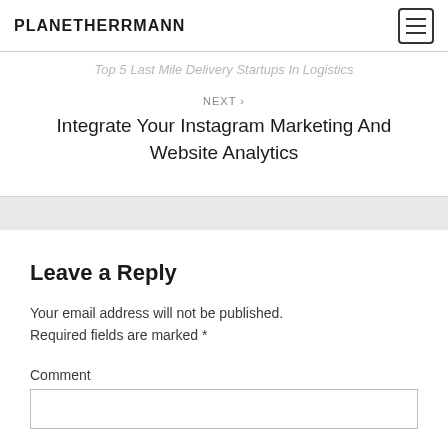PLANETHERRMANN
Top 5 Last Mile Delivery Startups In Logistics
NEXT › Integrate Your Instagram Marketing And Website Analytics
Leave a Reply
Your email address will not be published. Required fields are marked *
Comment